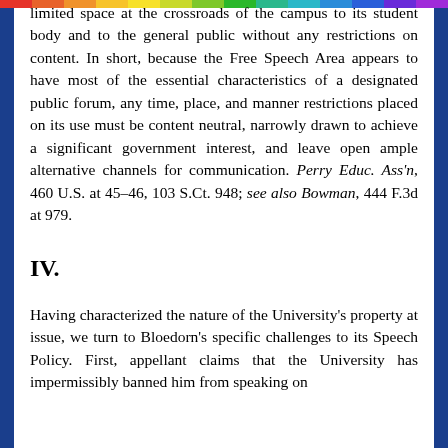limited space at the crossroads of the campus to its student body and to the general public without any restrictions on content. In short, because the Free Speech Area appears to have most of the essential characteristics of a designated public forum, any time, place, and manner restrictions placed on its use must be content neutral, narrowly drawn to achieve a significant government interest, and leave open ample alternative channels for communication. Perry Educ. Ass'n, 460 U.S. at 45-46, 103 S.Ct. 948; see also Bowman, 444 F.3d at 979.
IV.
Having characterized the nature of the University's property at issue, we turn to Bloedorn's specific challenges to its Speech Policy. First, appellant claims that the University has impermissibly banned him from speaking on